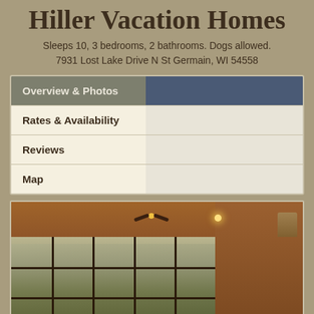Hiller Vacation Homes
Sleeps 10, 3 bedrooms, 2 bathrooms. Dogs allowed.
7931 Lost Lake Drive N St Germain, WI 54558
Overview & Photos
Rates & Availability
Reviews
Map
[Figure (photo): Interior photo of a wood-paneled sunroom or screened porch with a ceiling fan, recessed lighting, large windows overlooking a green lawn, and rustic wooden furniture.]